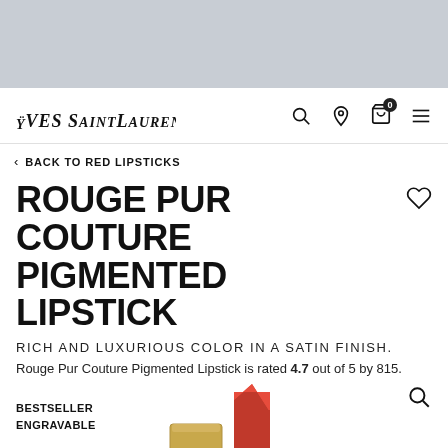[Figure (screenshot): Grey top banner area]
YVES SAINT LAURENT — navigation bar with logo, search, location, cart (0), and menu icons
< BACK TO RED LIPSTICKS
ROUGE PUR COUTURE PIGMENTED LIPSTICK
RICH AND LUXURIOUS COLOR IN A SATIN FINISH.
Rouge Pur Couture Pigmented Lipstick is rated 4.7 out of 5 by 815.
BESTSELLER
ENGRAVABLE
[Figure (photo): Lipstick product image showing a gold case and red lipstick bullet]